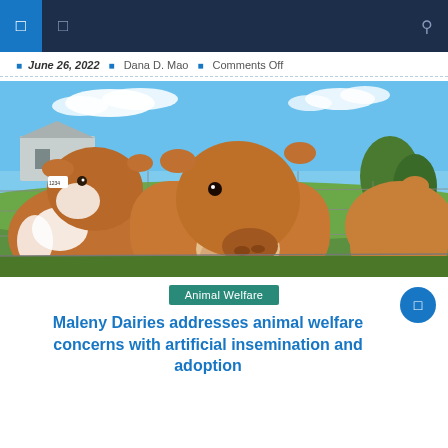Navigation bar with menu icons and search
June 26, 2022 · Dana D. Mao · Comments Off
[Figure (photo): Three brown and white calves/young cows looking through a wire fence on a farm, blue sky with clouds in background, green grass, farm building visible]
Animal Welfare
Maleny Dairies addresses animal welfare concerns with artificial insemination and adoption